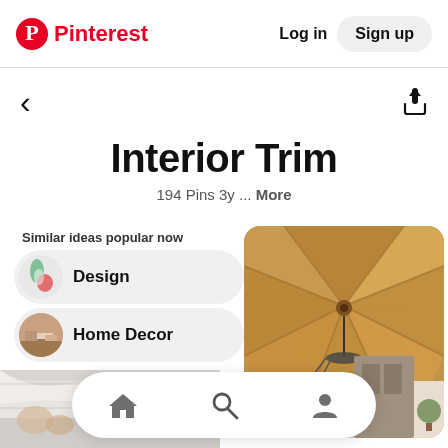Pinterest | Log in | Sign up
Interior Trim
194 Pins 3y ... More
Similar ideas popular now
Design
Home Decor
[Figure (photo): Wooden coffered ceiling with chandelier and living room interior]
[Figure (photo): White interior trim molding detail at bottom strip]
Home | Search | Profile navigation icons